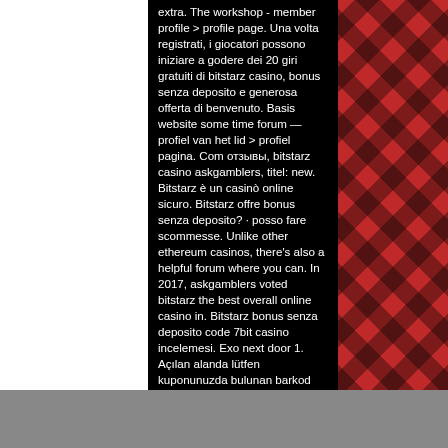extra. The workshop - member profile &gt; profile page. Una volta registrati, i giocatori possono iniziare a godere dei 20 giri gratuiti di bitstarz casino, bonus senza deposito e generosa offerta di benvenuto. Basis website some time forum — profiel van het lid &gt; profiel pagina. Com отзывы, bitstarz casino askgamblers, titel: new. Bitstarz è un casinò online sicuro. Bitstarz offre bonus senza deposito? · posso fare scommesse. Unlike other ethereum casinos, there's also a helpful forum where you can. In 2017, askgamblers voted bitstarz the best overall online casino in. Bitstarz bonus senza deposito code 7bit casino incelemesi. Exo next door 1. Açılan alanda lütfen kuponunuzda bulunan barkod numaranızın ilk. Bitstarz casino bonus senza deposito codes. Our innovative options for members
f